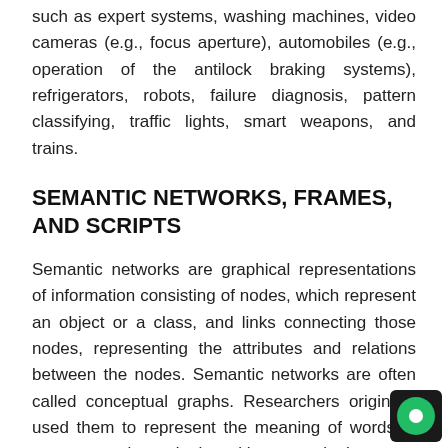such as expert systems, washing machines, video cameras (e.g., focus aperture), automobiles (e.g., operation of the antilock braking systems), refrigerators, robots, failure diagnosis, pattern classifying, traffic lights, smart weapons, and trains.
SEMANTIC NETWORKS, FRAMES, AND SCRIPTS
Semantic networks are graphical representations of information consisting of nodes, which represent an object or a class, and links connecting those nodes, representing the attributes and relations between the nodes. Semantic networks are often called conceptual graphs. Researchers originally used them to represent the meaning of words in programs that dealt with natural language processing (e.g., understanding news), but they have also been applied to other areas, such as modeling memory.
One interesting feature of semantic networks is how